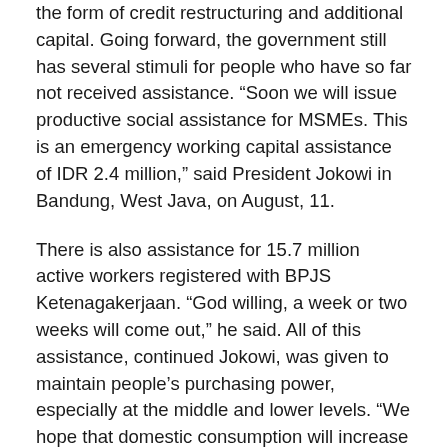the form of credit restructuring and additional capital. Going forward, the government still has several stimuli for people who have so far not received assistance. “Soon we will issue productive social assistance for MSMEs. This is an emergency working capital assistance of IDR 2.4 million,” said President Jokowi in Bandung, West Java, on August, 11.
There is also assistance for 15.7 million active workers registered with BPJS Ketenagakerjaan. “God willing, a week or two weeks will come out,” he said. All of this assistance, continued Jokowi, was given to maintain people’s purchasing power, especially at the middle and lower levels. “We hope that domestic consumption will increase so that economic growth in the third quarter will be better than the second quarter,” said the head of this republic. On a separate occasion, Coordinating Minister for Economic Affairs, Airlangga Hartarto, said the third quarter of 2020 was an important and challenging momentum to restore the national economy. Therefore, in the second semester of 2020, optimization of government spending will be the main key. The goal is to put Indonesia’s overall economic growth in 2020 in a positive zone. Meanwhile, INDEF Program Director, Esther Sri Astuti, said that for a country’s economy